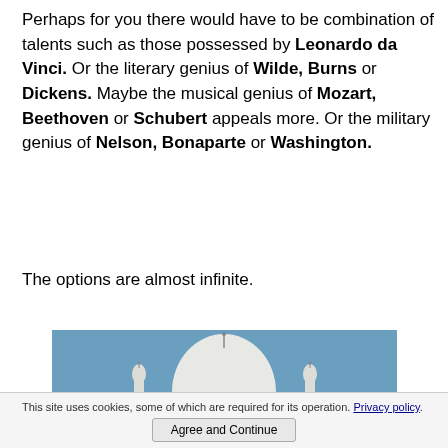Perhaps for you there would have to be combination of talents such as those possessed by Leonardo da Vinci. Or the literary genius of Wilde, Burns or Dickens. Maybe the musical genius of Mozart, Beethoven or Schubert appeals more. Or the military genius of Nelson, Bonaparte or Washington.
The options are almost infinite.
[Figure (photo): Photo of a white domed building (possibly Taj Mahal or similar mosque/mausoleum) with smaller decorative spires/minarets against a blue sky]
This site uses cookies, some of which are required for its operation. Privacy policy